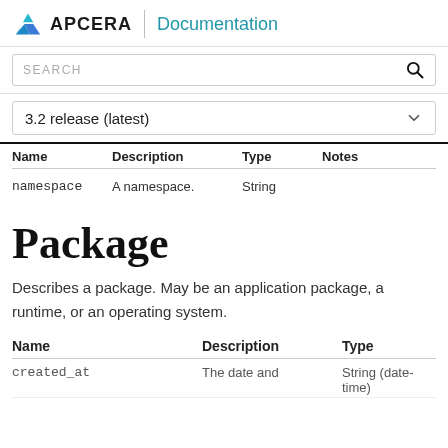APCERA Documentation
SEARCH
3.2 release (latest)
| Name | Description | Type | Notes |
| --- | --- | --- | --- |
| namespace | A namespace. | String |  |
Package
Describes a package. May be an application package, a runtime, or an operating system.
| Name | Description | Type |
| --- | --- | --- |
| created_at | The date and | String (date-time) |